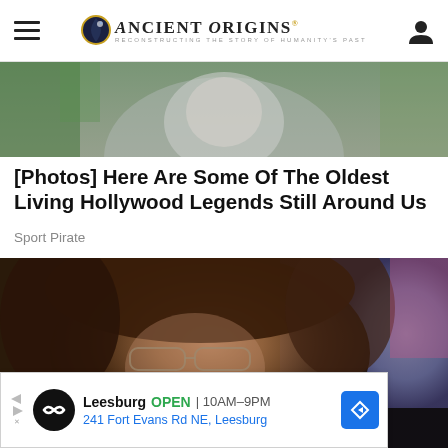Ancient Origins — Reconstructing the story of humanity's past
[Figure (photo): Partial top of a person's head, outdoors, blurred background with green foliage]
[Photos] Here Are Some Of The Oldest Living Hollywood Legends Still Around Us
Sport Pirate
[Figure (photo): Woman with brown hair and glasses, looking at camera, partially obscured by advertisement overlay]
Leesburg OPEN 10AM–9PM 241 Fort Evans Rd NE, Leesburg